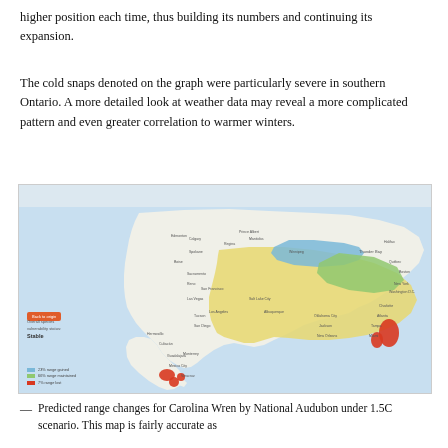higher position each time, thus building its numbers and continuing its expansion.
The cold snaps denoted on the graph were particularly severe in southern Ontario. A more detailed look at weather data may reveal a more complicated pattern and even greater correlation to warmer winters.
[Figure (map): Interactive map screenshot showing predicted range changes for Carolina Wren across North America. UI shows Warming scenario buttons (Current, +1.5°C, +3.0°C, +4.5°C) and Season dropdown (Winter). Map uses color coding: blue for range gained, green for range maintained, yellow/tan for current range, red for range lost. Legend shows 23% range gained, 66% range maintained, 7% range lost. Overall species vulnerability status: Stable.]
Predicted range changes for Carolina Wren by National Audubon under 1.5C scenario. This map is fairly accurate as